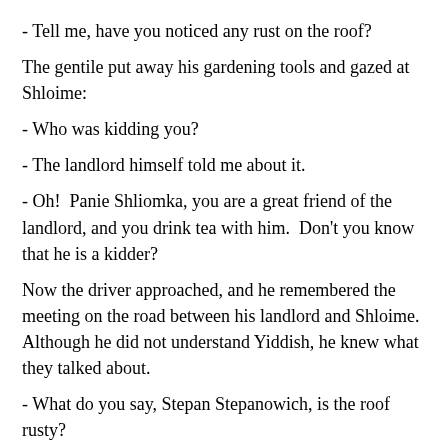- Tell me, have you noticed any rust on the roof?
The gentile put away his gardening tools and gazed at Shloime:
- Who was kidding you?
- The landlord himself told me about it.
- Oh!  Panie Shliomka, you are a great friend of the landlord, and you drink tea with him.  Don't you know that he is a kidder?
Now the driver approached, and he remembered the meeting on the road between his landlord and Shloime.  Although he did not understand Yiddish, he knew what they talked about.
- What do you say, Stepan Stepanowich, is the roof rusty?
- I do not know what goes on the roof.  You have to see for yourself, - meaning: